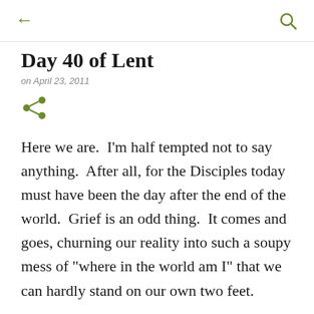← back | search
Day 40 of Lent
on April 23, 2011
[Figure (other): Share icon (green network/share symbol)]
Here we are.  I'm half tempted not to say anything.  After all, for the Disciples today must have been the day after the end of the world.  Grief is an odd thing.  It comes and goes, churning our reality into such a soupy mess of "where in the world am I" that we can hardly stand on our own two feet.